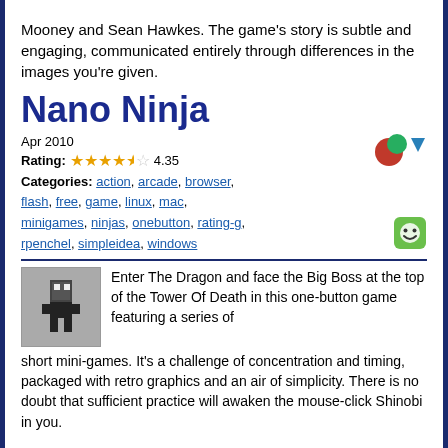Mooney and Sean Hawkes. The game's story is subtle and engaging, communicated entirely through differences in the images you're given.
Nano Ninja
Apr 2010
Rating: 4.35
Categories: action, arcade, browser, flash, free, game, linux, mac, minigames, ninjas, onebutton, rating-g, rpenchel, simpleidea, windows
Enter The Dragon and face the Big Boss at the top of the Tower Of Death in this one-button game featuring a series of short mini-games. It's a challenge of concentration and timing, packaged with retro graphics and an air of simplicity. There is no doubt that sufficient practice will awaken the mouse-click Shinobi in you.
Mushroom Madness 2